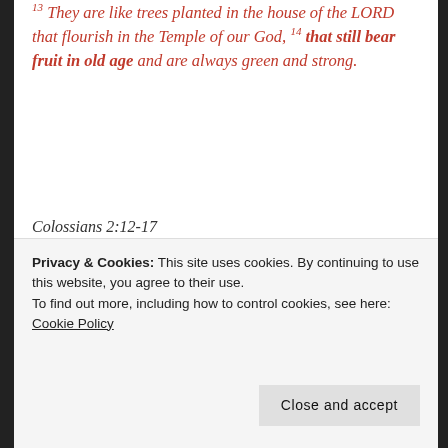They are like trees planted in the house of the LORD that flourish in the Temple of our God, 14 that still bear fruit in old age and are always green and strong.
Colossians 2:12-17
12 You are the people of God; he loved you and chose you for his own. So then, you must clothe yourselves with compassion, kindness,
Privacy & Cookies: This site uses cookies. By continuing to use this website, you agree to their use.
To find out more, including how to control cookies, see here: Cookie Policy
Close and accept
another just as the Lord has forgiven you. In